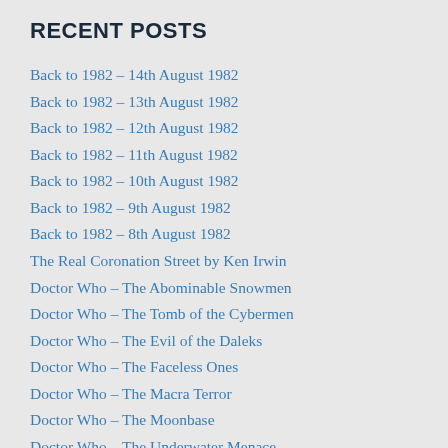RECENT POSTS
Back to 1982 – 14th August 1982
Back to 1982 – 13th August 1982
Back to 1982 – 12th August 1982
Back to 1982 – 11th August 1982
Back to 1982 – 10th August 1982
Back to 1982 – 9th August 1982
Back to 1982 – 8th August 1982
The Real Coronation Street by Ken Irwin
Doctor Who – The Abominable Snowmen
Doctor Who – The Tomb of the Cybermen
Doctor Who – The Evil of the Daleks
Doctor Who – The Faceless Ones
Doctor Who – The Macra Terror
Doctor Who – The Moonbase
Doctor Who – The Underwater Menace
Doctor Who – The Highlanders
Doctor Who – Power of the Daleks
Doctor Who – The Tenth Planet
Doctor Who – The Smugglers